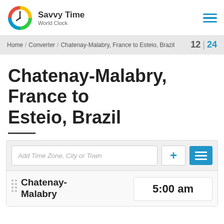Savvy Time World Clock
Home / Converter / Chatenay-Malabry, France to Esteio, Brazil  12 | 24
Chatenay-Malabry, France to Esteio, Brazil
Add Time Zone, City or Town
Chatenay-Malabry  5:00 am